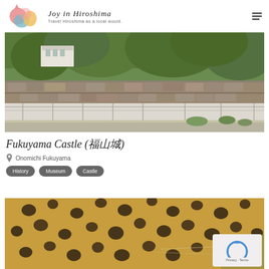Joy in Hiroshima — Travel Hiroshima as a local would.
[Figure (photo): Exterior view of Fukuyama Castle showing stone walls, white building in background, and surrounding green trees]
Fukuyama Castle (福山城)
Onomichi Fukuyama
History
Museum
Castle
[Figure (photo): Close-up photo of a cheetah's face showing spotted fur pattern]